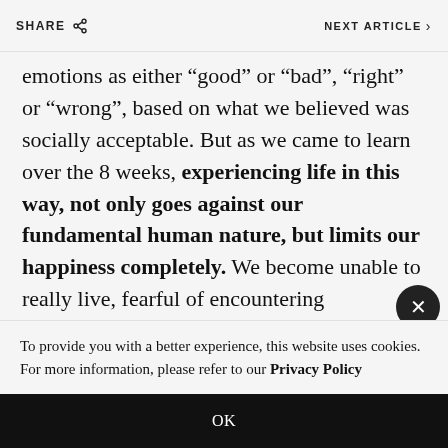SHARE   NEXT ARTICLE
emotions as either “good” or “bad”, “right” or “wrong”, based on what we believed was socially acceptable. But as we came to learn over the 8 weeks, experiencing life in this way, not only goes against our fundamental human nature, but limits our happiness completely. We become unable to really live, fearful of encountering
To provide you with a better experience, this website uses cookies. For more information, please refer to our Privacy Policy
OK